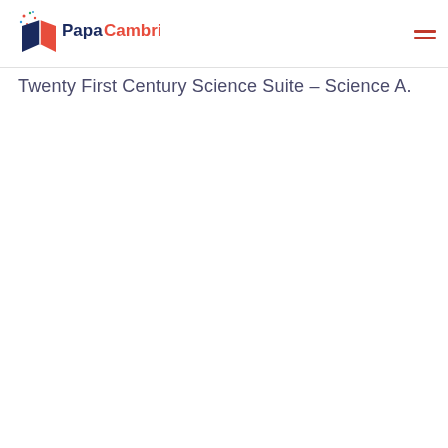PapaCambridge
Twenty First Century Science Suite – Science A.